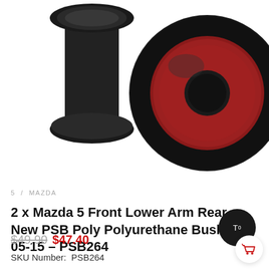[Figure (photo): Two black polyurethane bushings with red interior, viewed from front and side angle on white background]
5 / MAZDA
2 x Mazda 5 Front Lower Arm Rear New PSB Poly Polyurethane Bushing 05-15 – PSB264
$49.90 $47.40
SKU Number:  PSB264